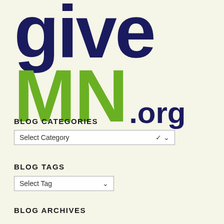[Figure (logo): GiveMN.org logo with 'give' in dark navy blue large bold text and 'MN' in bright green large bold text with '.org' in dark navy superscript style]
BLOG CATEGORIES
[Figure (screenshot): Dropdown selector with text 'Select Category' and a chevron arrow]
BLOG TAGS
[Figure (screenshot): Dropdown selector with text 'Select Tag' and a chevron arrow]
BLOG ARCHIVES